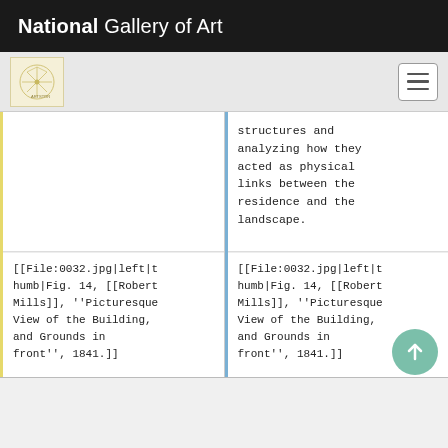National Gallery of Art
structures and analyzing how they acted as physical links between the residence and the landscape.
[[File:0032.jpg|left|thumb|Fig. 14, [[Robert Mills]], ''Picturesque View of the Building, and Grounds in front'', 1841.]]
[[File:0032.jpg|left|thumb|Fig. 14, [[Robert Mills]], ''Picturesque View of the Building, and Grounds in front'', 1841.]]